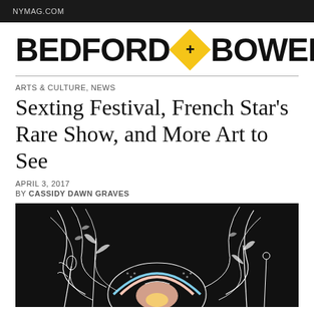NYMAG.COM
[Figure (logo): Bedford + Bowery logo in bold black text with a yellow diamond shape containing a plus sign between the words]
ARTS & CULTURE, NEWS
Sexting Festival, French Star’s Rare Show, and More Art to See
APRIL 3, 2017
BY CASSIDY DAWN GRAVES
[Figure (illustration): Dark black background illustration with white line art showing flowing hair, plants, leaves, flowers, and a face with a rainbow and pink/yellow color elements]